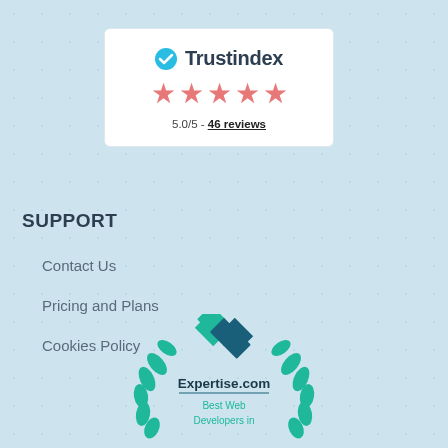[Figure (logo): Trustindex widget card showing logo, 5 star rating, and 5.0/5 - 46 reviews]
SUPPORT
Contact Us
Pricing and Plans
Cookies Policy
[Figure (logo): Expertise.com badge with laurel wreath, diamond logo, and text: Best Web Developers in]